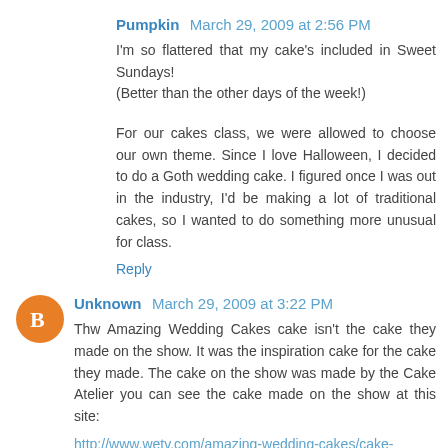Pumpkin March 29, 2009 at 2:56 PM
I'm so flattered that my cake's included in Sweet Sundays! (Better than the other days of the week!)
For our cakes class, we were allowed to choose our own theme. Since I love Halloween, I decided to do a Goth wedding cake. I figured once I was out in the industry, I'd be making a lot of traditional cakes, so I wanted to do something more unusual for class.
Reply
Unknown March 29, 2009 at 3:22 PM
Thw Amazing Wedding Cakes cake isn't the cake they made on the show. It was the inspiration cake for the cake they made. The cake on the show was made by the Cake Atelier you can see the cake made on the show at this site:
http://www.wetv.com/amazing-wedding-cakes/cake-